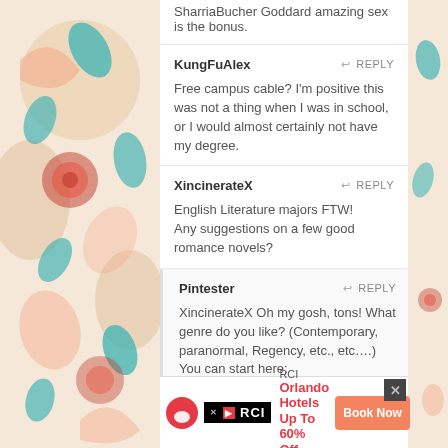SharriaBucher Goddard amazing sex is the bonus.
KungFuAlex
Free campus cable?  I'm positive this was not a thing when I was in school, or I would almost certainly not have my degree.
XincinerateX
English Literature majors FTW!
Any suggestions on a few good romance novels?
Pintester
XincinerateX Oh my gosh, tons! What genre do you like? (Contemporary, paranormal, Regency, etc., etc....) You can start here: http://sonjafoust.com/2012/06/10/book-recs-for-the-recovering-english-literature-major/ 😉
AuntieWitch
RCI Orlando Hotels Up To 60% Off Book Now